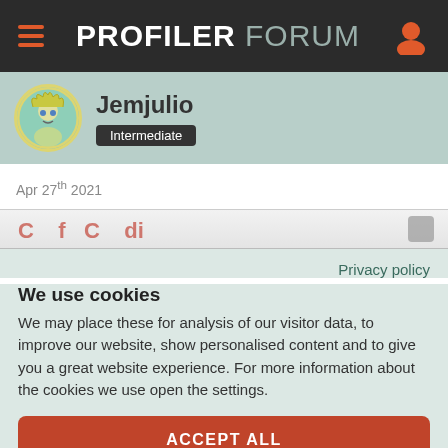PROFILER FORUM
Jemjulio
Intermediate
Apr 27th 2021
Privacy policy
We use cookies
We may place these for analysis of our visitor data, to improve our website, show personalised content and to give you a great website experience. For more information about the cookies we use open the settings.
ACCEPT ALL
DENY
NO, ADJUST